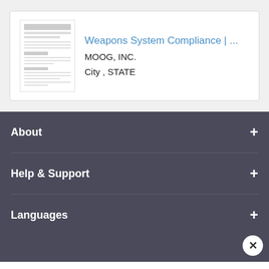[Figure (screenshot): Thumbnail image of a document titled Weapons System Compliance Inventory Checklist]
Weapons System Compliance | ...
MOOG, INC.
City , STATE
About
Help & Support
Languages
Livecareer.com and our partners use cookies. These cookies only collect personal data when you opt in to build a resume and cover letter. Learn more